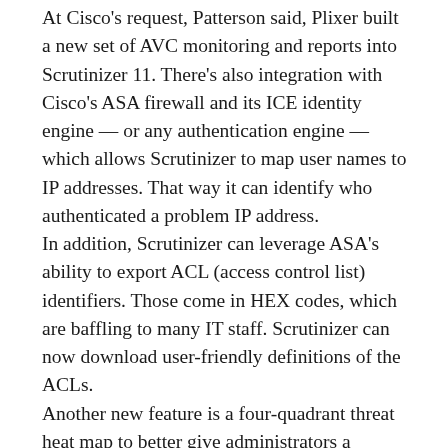At Cisco's request, Patterson said, Plixer built a new set of AVC monitoring and reports into Scrutinizer 11. There's also integration with Cisco's ASA firewall and its ICE identity engine — or any authentication engine — which allows Scrutinizer to map user names to IP addresses. That way it can identify who authenticated a problem IP address.
In addition, Scrutinizer can leverage ASA's ability to export ACL (access control list) identifiers. Those come in HEX codes, which are baffling to many IT staff. Scrutinizer can now download user-friendly definitions of the ACLs.
Another new feature is a four-quadrant threat heat map to better give administrators a graphic idea of which problems are most important.“Normally when